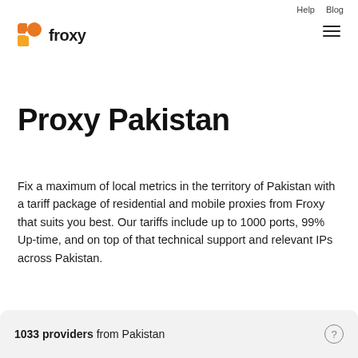Help   Blog
[Figure (logo): Froxy logo: orange square and orange quarter-circle shape, with bold text 'froxy']
Proxy Pakistan
Fix a maximum of local metrics in the territory of Pakistan with a tariff package of residential and mobile proxies from Froxy that suits you best. Our tariffs include up to 1000 ports, 99% Up-time, and on top of that technical support and relevant IPs across Pakistan.
1033 providers from Pakistan